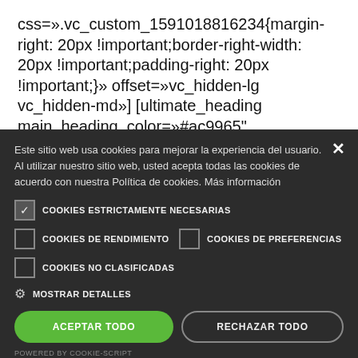css=».vc_custom_1591018816234{margin-right: 20px !important;border-right-width: 20px !important;padding-right: 20px !important;}» offset=»vc_hidden-lg vc_hidden-md»] [ultimate_heading main_heading_color=»#ac9965"
Este sitio web usa cookies para mejorar la experiencia del usuario. Al utilizar nuestro sitio web, usted acepta todas las cookies de acuerdo con nuestra Política de cookies. Más información
COOKIES ESTRICTAMENTE NECESARIAS
COOKIES DE RENDIMIENTO
COOKIES DE PREFERENCIAS
COOKIES NO CLASIFICADAS
MOSTRAR DETALLES
ACEPTAR TODO
RECHAZAR TODO
POWERED BY COOKIE-SCRIPT